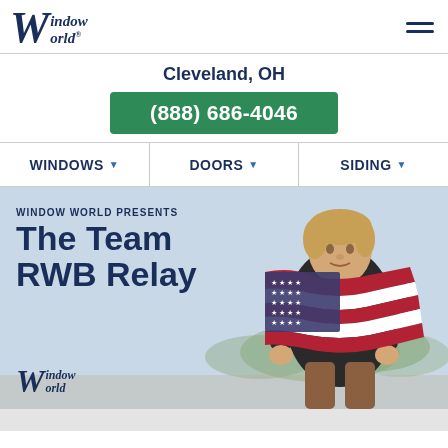[Figure (logo): Window World logo in dark navy italic serif font, top left header]
Window World website header with hamburger menu icon
Cleveland, OH
(888) 686-4046
WINDOWS  DOORS  SIDING navigation bar
[Figure (photo): Hero banner: boy holding American flag draped over shoulders, outdoor background. Overlay text: WINDOW WORLD PRESENTS The Team RWB Relay. Window World logo bottom left.]